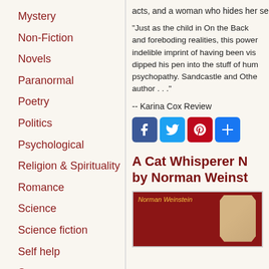Mystery
Non-Fiction
Novels
Paranormal
Poetry
Politics
Psychological
Religion & Spirituality
Romance
Science
Science fiction
Self help
Sports
Suspense
acts, and a woman who hides her se
"Just as the child in On the Back and foreboding realities, this power indelible imprint of having been vis dipped his pen into the stuff of hum psychopathy. Sandcastle and Othe author . . ."
-- Karina Cox Review
[Figure (other): Social media share buttons: Facebook, Twitter, Pinterest, Share]
A Cat Whisperer N by Norman Weinst
[Figure (photo): Book cover with dark red background, author name 'Norman Weinstein' in gold italic text, and a diamond-shaped portrait photo of the author]